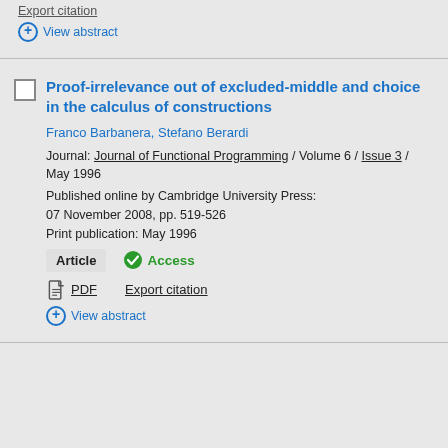Export citation
⊕ View abstract
Proof-irrelevance out of excluded-middle and choice in the calculus of constructions
Franco Barbanera, Stefano Berardi
Journal: Journal of Functional Programming / Volume 6 / Issue 3 / May 1996
Published online by Cambridge University Press: 07 November 2008, pp. 519-526
Print publication: May 1996
Article  ✓ Access
PDF   Export citation
⊕ View abstract